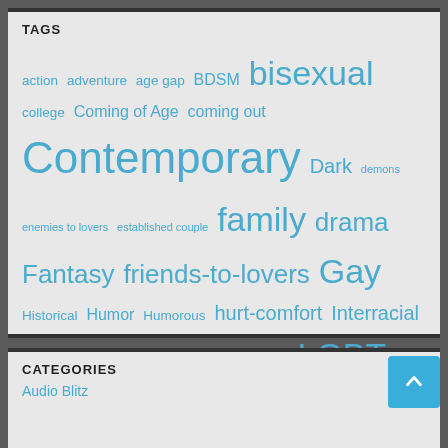TAGS
action adventure age gap BDSM bisexual college Coming of Age coming out Contemporary Dark demons enemies to lovers established couple family drama Fantasy friends-to-lovers Gay Historical Humor Humorous hurt-comfort Interracial in the closet law enforcement Lesbian LGBT LGBTQIA+ M/M Romance magic magic users menage mystery New Adult Paranormal Paranormal Romance PTSD reunited Romance royalty Sci-Fi Shifters slow burn Trans Urban Fantasy Vampires YA
CATEGORIES
Audio Blitz